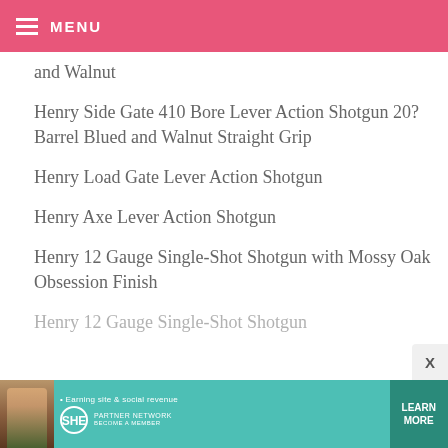MENU
and Walnut
Henry Side Gate 410 Bore Lever Action Shotgun 20? Barrel Blued and Walnut Straight Grip
Henry Load Gate Lever Action Shotgun
Henry Axe Lever Action Shotgun
Henry 12 Gauge Single-Shot Shotgun with Mossy Oak Obsession Finish
Henry 12 Gauge Single-Shot Shotgun
[Figure (illustration): SHE Media partner network advertisement banner with woman photo, teal background, and Learn More button]